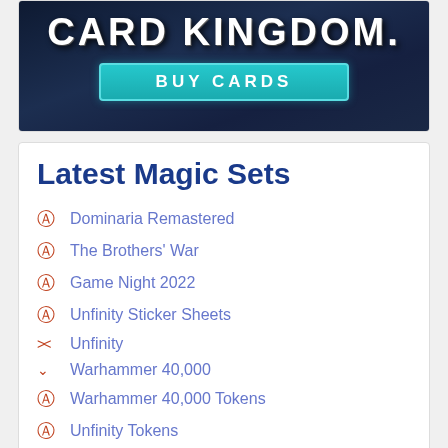[Figure (illustration): Card Kingdom advertisement banner with dark blue fantasy background, 'CARD KINGDOM.' title text in white grunge font, and a teal 'BUY CARDS' button]
Latest Magic Sets
Dominaria Remastered
The Brothers' War
Game Night 2022
Unfinity Sticker Sheets
Unfinity
Warhammer 40,000
Warhammer 40,000 Tokens
Unfinity Tokens